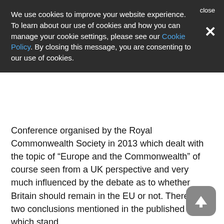We use cookies to improve your website experience. To learn about our use of cookies and how you can manage your cookie settings, please see our Cookie Policy. By closing this message, you are consenting to our use of cookies.
Conference organised by the Royal Commonwealth Society in 2013 which dealt with the topic of “Europe and the Commonwealth” of course seen from a UK perspective and very much influenced by the debate as to whether Britain should remain in the EU or not. There are two conclusions mentioned in the published report which stand
The first highlighted the fact that the fastest growing economies are in the Commonwealth, which means that it would benefit the European Union itself if measures were taken to facilitate trade between the EU and the Commonwealth.
The second stated that there is a general need to